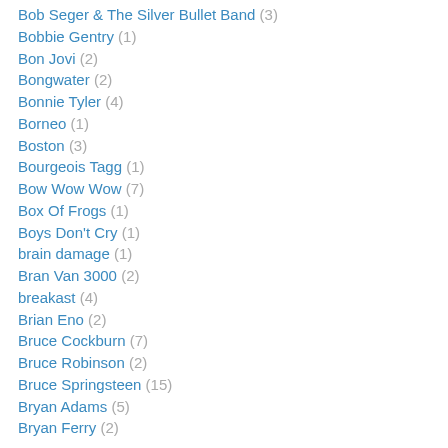Bob Seger & The Silver Bullet Band (3)
Bobbie Gentry (1)
Bon Jovi (2)
Bongwater (2)
Bonnie Tyler (4)
Borneo (1)
Boston (3)
Bourgeois Tagg (1)
Bow Wow Wow (7)
Box Of Frogs (1)
Boys Don't Cry (1)
brain damage (1)
Bran Van 3000 (2)
breakast (4)
Brian Eno (2)
Bruce Cockburn (7)
Bruce Robinson (2)
Bruce Springsteen (15)
Bryan Adams (5)
Bryan Ferry (2)